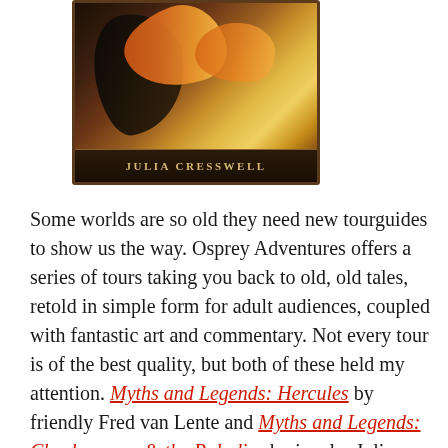[Figure (illustration): Book cover showing a dark dragon figure with colorful wings (orange and yellow tones) against a dark background, with the author name JULIA CRESSWELL displayed in gold lettering at the bottom on a dark banner.]
Some worlds are so old they need new tourguides to show us the way. Osprey Adventures offers a series of tours taking you back to old, old tales, retold in simple form for adult audiences, coupled with fantastic art and commentary. Not every tour is of the best quality, but both of these held my attention. Myths and Legends: Hercules by friendly Fred van Lente and Myths and Legends: Charlemagne & the Paladins by jocular Julia Cresswell both tell us the stories in simple, 80-page volumes. If you're behind on your ancient folklore, well, this primer will tell you all you need to know, and give you recommendations on where to go next. (I am a bit